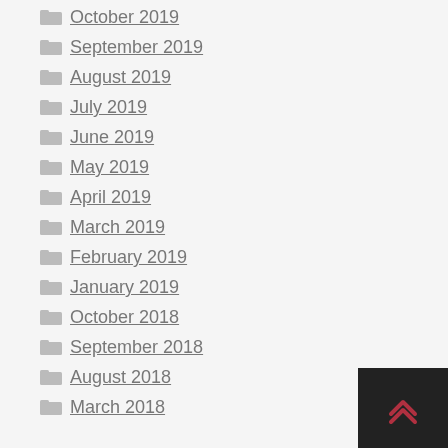October 2019
September 2019
August 2019
July 2019
June 2019
May 2019
April 2019
March 2019
February 2019
January 2019
October 2018
September 2018
August 2018
March 2018